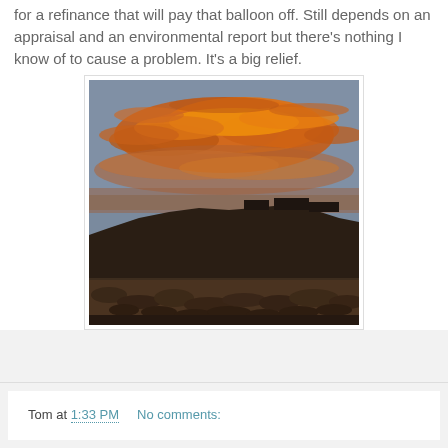for a refinance that will pay that balloon off. Still depends on an appraisal and an environmental report but there's nothing I know of to cause a problem. It's a big relief.
[Figure (photo): Outdoor desert sunset photograph showing dramatic orange and pink clouds over a dark mesa/butte silhouette with dry brush in the foreground.]
Tom at 1:33 PM    No comments: